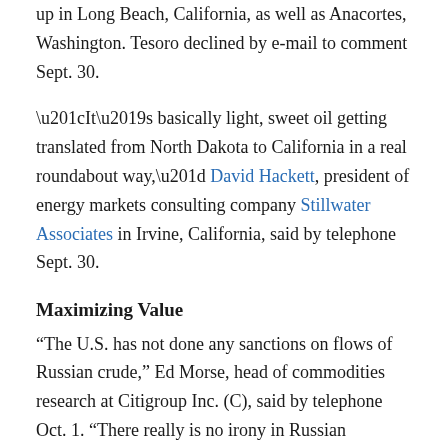up in Long Beach, California, as well as Anacortes, Washington. Tesoro declined by e-mail to comment Sept. 30.
“It’s basically light, sweet oil getting translated from North Dakota to California in a real roundabout way,” David Hackett, president of energy markets consulting company Stillwater Associates in Irvine, California, said by telephone Sept. 30.
Maximizing Value
“The U.S. has not done any sanctions on flows of Russian crude,” Ed Morse, head of commodities research at Citigroup Inc. (C), said by telephone Oct. 1. “There really is no irony in Russian exporters trying to maximize value by selling crude into the highest-value market.”